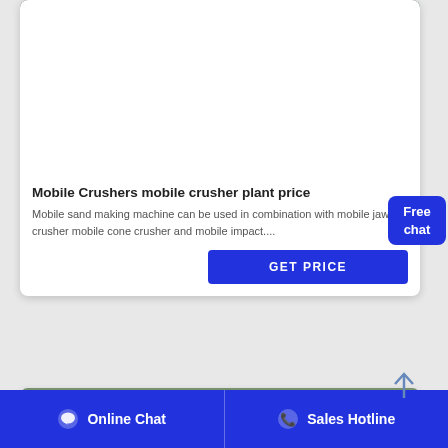[Figure (photo): Aerial view of a mining/crushing plant facility with industrial machinery, overlaid with ACrusher Mining Equipment logo (olive green background with triangle logo and bold white text).]
Mobile Crushers mobile crusher plant price
Mobile sand making machine can be used in combination with mobile jaw crusher mobile cone crusher and mobile impact....
[Figure (screenshot): Blue 'GET PRICE' button]
[Figure (photo): Photo of a river dredging or excavation machine with orange cab, mountains in background.]
Online Chat   Sales Hotline